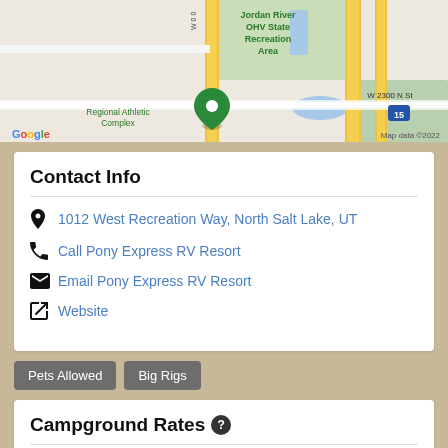[Figure (map): Google Maps screenshot showing Jordan River OHV State Recreation Area, Regional Athletic Complex, W 2300 N St, Interstate 15, with a map pin marker. Map data ©2022.]
Contact Info
1012 West Recreation Way, North Salt Lake, UT
Call Pony Express RV Resort
Email Pony Express RV Resort
Website
Pets Allowed
Big Rigs
Campground Rates